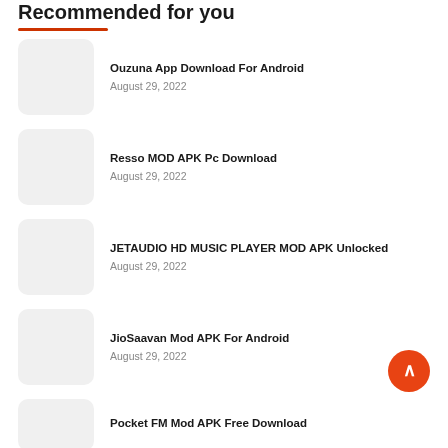Recommended for you
Ouzuna App Download For Android
August 29, 2022
Resso MOD APK Pc Download
August 29, 2022
JETAUDIO HD MUSIC PLAYER MOD APK Unlocked
August 29, 2022
JioSaavan Mod APK For Android
August 29, 2022
Pocket FM Mod APK Free Download